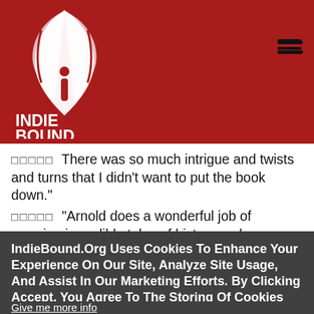[Figure (logo): IndieBound logo with stylized bird/book graphic in white on red background, text INDIE BOUND below]
★★★★★ There was so much intrigue and twists and turns that I didn't want to put the book down."
★★★★★ "Arnold does a wonderful job of weaving incredible tales of history and suspense."
★★★★★ "The story line is] brilliant descriptive writing brings the ancient world of Egypt to life."
IndieBound.Org Uses Cookies To Enhance Your Experience On Our Site, Analyze Site Usage, And Assist In Our Marketing Efforts. By Clicking Accept, You Agree To The Storing Of Cookies On Your Device. View Our Cookie Policy.
Give me more info
Accept all Cookies